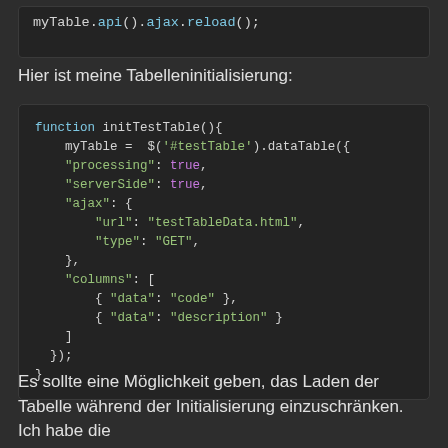[Figure (screenshot): Code snippet showing: myTable.api().ajax.reload();]
Hier ist meine Tabelleninitialisierung:
[Figure (screenshot): JavaScript code block showing initTestTable() function with DataTable initialization including serverSide, ajax url/type, and columns configuration.]
Es sollte eine Möglichkeit geben, das Laden der Tabelle während der Initialisierung einzuschränken. Ich habe die